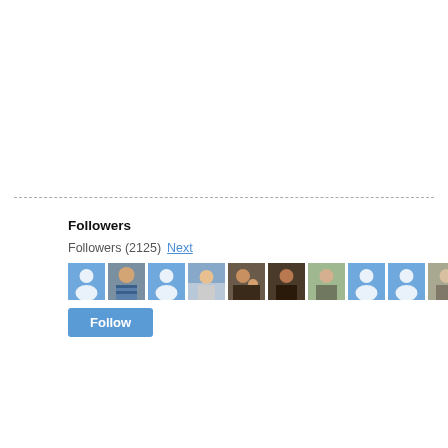Followers
Followers (2125) Next
[Figure (screenshot): Row of 10 follower avatar thumbnails — some are default blue user-icon placeholders, others are small profile photos of people]
Follow